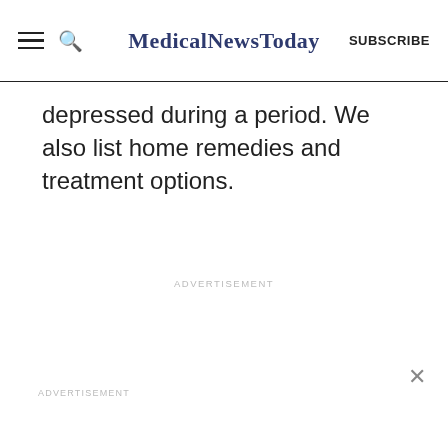MedicalNewsToday SUBSCRIBE
depressed during a period. We also list home remedies and treatment options.
ADVERTISEMENT
ADVERTISEMENT
×